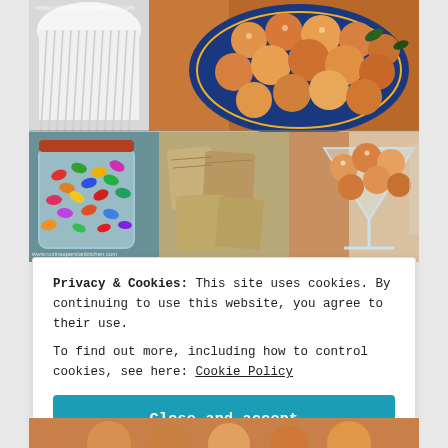[Figure (photo): Food photo collage: top half shows a decorative blue plate with sugar-dusted round cookies/pastries (peach-shaped), alongside a white cupcake liner/cake. Bottom half shows three panels: left panel has a glass jar with colorful jelly beans, middle panel shows flat cookies/bread on a surface, right panel shows a martini glass filled with peach-shaped sugar cookies. Watermark text visible: www.rozinaspersiankitchen.com]
Privacy & Cookies: This site uses cookies. By continuing to use this website, you agree to their use.
To find out more, including how to control cookies, see here: Cookie Policy
Close and accept
[Figure (photo): Partial view of another food photo at the bottom of the page, showing colorful cookies or pastries.]